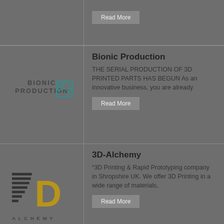[Figure (logo): Partial top card with Read More button]
Read More
[Figure (logo): Bionic Production logo with geometric leaf/crystal icon and text BIONIC PRODUCTION]
Bionic Production
THE SERIAL PRODUCTION OF 3D PRINTED PARTS HAS BEGUN As an innovative business, you are already
Read More
[Figure (logo): 3D-Alchemy logo with layered lines forming a stylized left portion and large gold D letter with ALCHEMY text below]
3D-Alchemy
“3D Printing & Rapid Prototyping company in Shropshire UK. We offer 3D Printing in a wide range of materials,
Read More